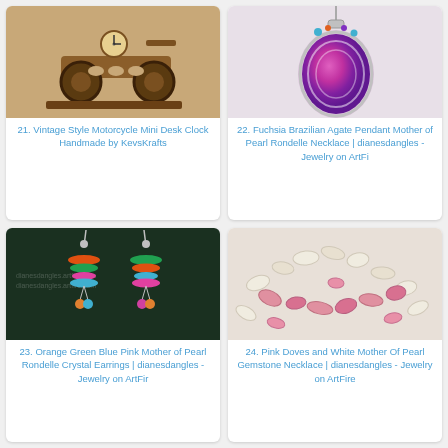[Figure (photo): Vintage style motorcycle mini desk clock handmade, wooden motorcycle sculpture with clock face]
21. Vintage Style Motorcycle Mini Desk Clock Handmade by KevsKrafts
[Figure (photo): Fuchsia Brazilian Agate Pendant with Mother of Pearl Rondelle Necklace, purple/pink teardrop stone with small colorful beads]
22. Fuchsia Brazilian Agate Pendant Mother of Pearl Rondelle Necklace | dianesdangles - Jewelry on ArtFi
[Figure (photo): Orange Green Blue Pink Mother of Pearl Rondelle Crystal Earrings, colorful stacked disc earrings with dangling beads]
23. Orange Green Blue Pink Mother of Pearl Rondelle Crystal Earrings | dianesdangles - Jewelry on ArtFir
[Figure (photo): Pink Doves and White Mother of Pearl Gemstone Necklace, white and pink chip beads arranged in a necklace]
24. Pink Doves and White Mother Of Pearl Gemstone Necklace | dianesdangles - Jewelry on ArtFire